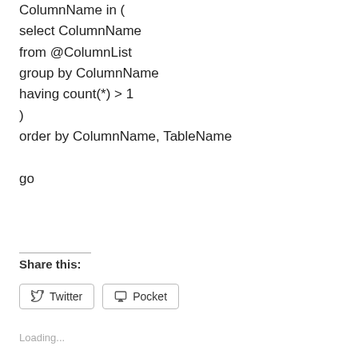ColumnName in (
select ColumnName
from @ColumnList
group by ColumnName
having count(*) > 1
)
order by ColumnName, TableName

go
Share this:
[Figure (other): Twitter share button]
[Figure (other): Pocket share button]
Loading...